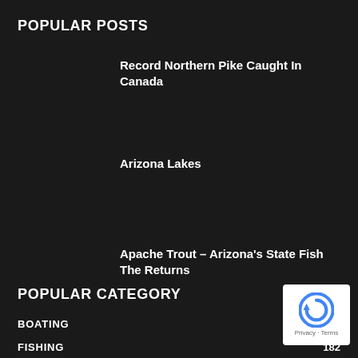POPULAR POSTS
Record Northern Pike Caught In Canada
Arizona Lakes
Apache Trout – Arizona's State Fish The Returns
POPULAR CATEGORY
BOATING
FISHING 182